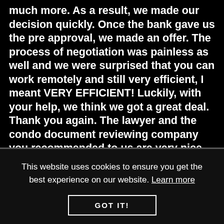much more. As a result, we made our decision quickly. Once the bank gave us the pre approval, we made an offer. The process of negotiation was painless as well and we were surprised that you can work remotely and still very efficient, I meant VERY EFFICIENT! Luckily, with your help, we think we got a great deal. Thank you again. The lawyer and the condo document reviewing company you recommended to us are very nice and efficient as well. I had great experience with them too. As promised, we received the house key on the due day and everything worked out perfect! During the
This website uses cookies to ensure you get the best experience on our website. Learn more
GOT IT!